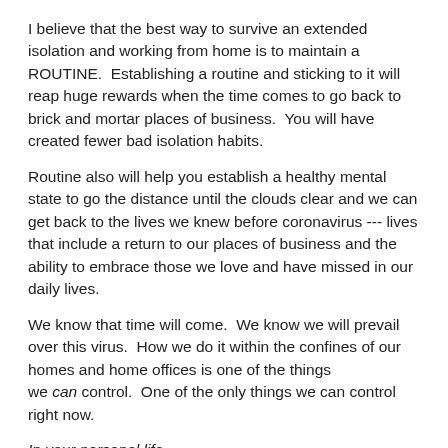I believe that the best way to survive an extended isolation and working from home is to maintain a ROUTINE. Establishing a routine and sticking to it will reap huge rewards when the time comes to go back to brick and mortar places of business. You will have created fewer bad isolation habits.
Routine also will help you establish a healthy mental state to go the distance until the clouds clear and we can get back to the lives we knew before coronavirus --- lives that include a return to our places of business and the ability to embrace those we love and have missed in our daily lives.
We know that time will come. We know we will prevail over this virus. How we do it within the confines of our homes and home offices is one of the things we can control. One of the only things we can control right now.
In your personal life,
Keep regular hours. Sleep when you always sleep -- not interrupted by naps in the afternoon and